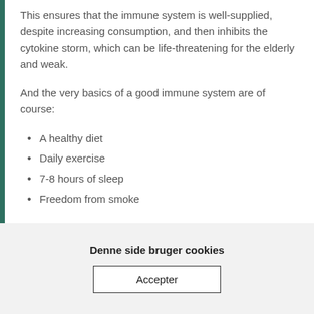This ensures that the immune system is well-supplied, despite increasing consumption, and then inhibits the cytokine storm, which can be life-threatening for the elderly and weak.
And the very basics of a good immune system are of course:
A healthy diet
Daily exercise
7-8 hours of sleep
Freedom from smoke
Denne side bruger cookies
Accepter